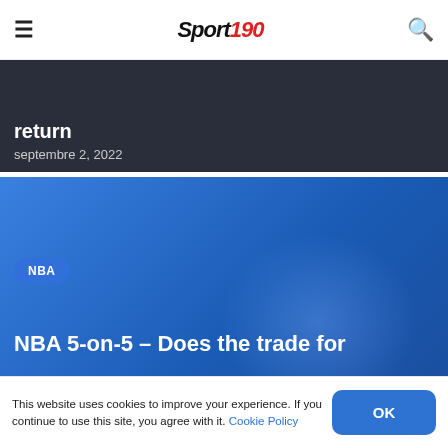Sport 190
[Figure (photo): Partially visible dark-toned sports article card with title 'return' visible and date 'septembre 2, 2022']
return
septembre 2, 2022
[Figure (photo): Large blue-toned sports article card with NBA badge and partial headline 'NBA 5-on-5 – Does the trade for']
NBA
NBA 5-on-5 – Does the trade for
This website uses cookies to improve your experience. If you continue to use this site, you agree with it. Cookie Policy